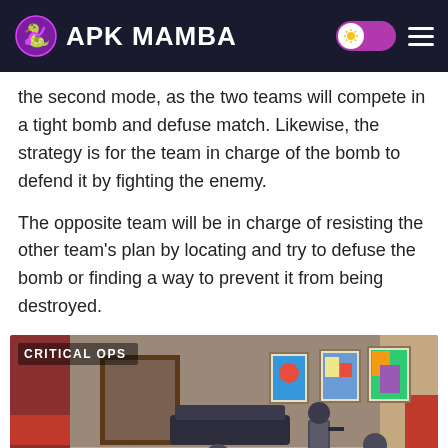APK MAMBA
the second mode, as the two teams will compete in a tight bomb and defuse match. Likewise, the strategy is for the team in charge of the bomb to defend it by fighting the enemy.
The opposite team will be in charge of resisting the other team’s plan by locating and try to defuse the bomb or finding a way to prevent it from being destroyed.
[Figure (screenshot): Critical Ops mobile game screenshot showing four tactical soldiers in gear on a tiled indoor map with colorful paintings on the wall.]
English